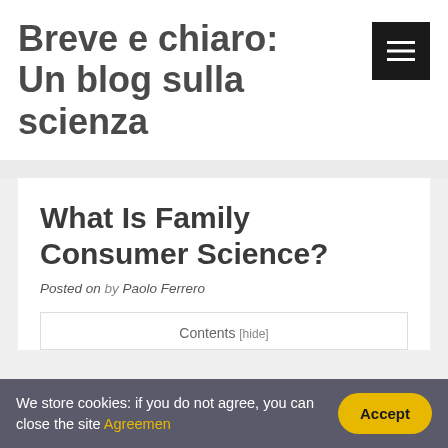Breve e chiaro: Un blog sulla scienza
What Is Family Consumer Science?
Posted on by Paolo Ferrero
Contents [hide]
We store cookies: if you do not agree, you can close the site Agreemen
Accept